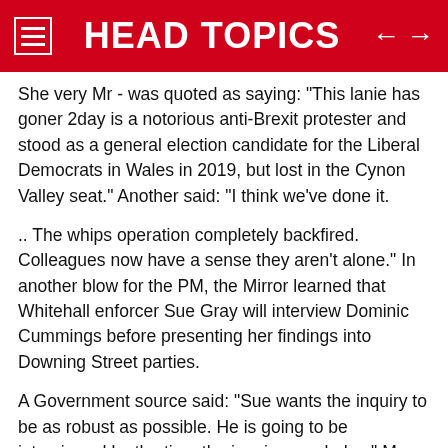HEAD TOPICS
She very Mr - was quoted as saying: "This lanie has goner 2day is a notorious anti-Brexit protester and stood as a general election candidate for the Liberal Democrats in Wales in 2019, but lost in the Cynon Valley seat." Another said: “I think we’ve done it.
.. The whips operation completely backfired. Colleagues now have a sense they aren’t alone.” In another blow for the PM, the Mirror learned that Whitehall enforcer Sue Gray will interview Dominic Cummings before presenting her findings into Downing Street parties.
A Government source said: "Sue wants the inquiry to be as robust as possible. He is going to be interviewed by the time the inquiry concludes." Mr Johnson has been accused of lying to the House of Commons by claiming he thought that a "bring your own booze" garden party on May 20, 2020 was a work event. In explosive claims, Mr Cummings had claimed the PM "waved aside" concerns about the rule-busting gathering at the height of lockdown. He claimed that he and "other eyewitnesses" would be willing to swear under oath that senior